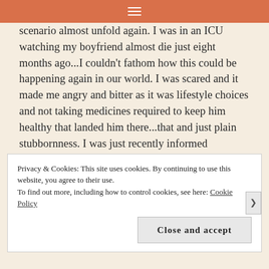≡
scenario almost unfold again. I was in an ICU watching my boyfriend almost die just eight months ago...I couldn't fathom how this could be happening again in our world. I was scared and it made me angry and bitter as it was lifestyle choices and not taking medicines required to keep him healthy that landed him there...that and just plain stubbornness. I was just recently informed (unnecessarily, mind you...I could have existed not knowing) that during his month long stay at the hospital there was questioning if I had something to do with the sickness by at least
Privacy & Cookies: This site uses cookies. By continuing to use this website, you agree to their use.
To find out more, including how to control cookies, see here: Cookie Policy
Close and accept